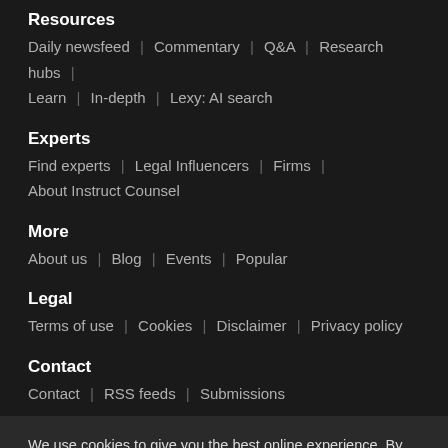Resources
Daily newsfeed | Commentary | Q&A | Research hubs | Learn | In-depth | Lexy: AI search
Experts
Find experts | Legal Influencers | Firms | About Instruct Counsel
More
About us | Blog | Events | Popular
Legal
Terms of use | Cookies | Disclaimer | Privacy policy
Contact
Contact | RSS feeds | Submissions
We use cookies to give you the best online experience. By clicking "Accept Cookies" or clicking into any content on this site, you agree to allow cookies to be placed. To find out more visit our cookie policy
Cookies Settings | Accept Cookies